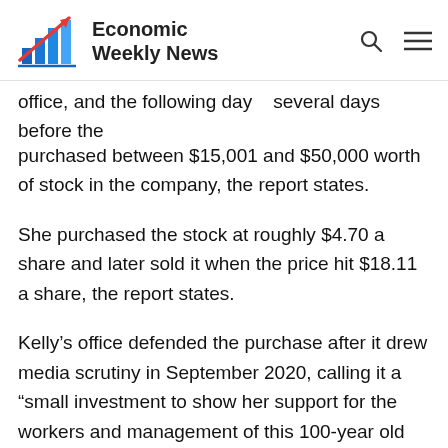Economic Weekly News
office, and the following day — several days before the announcement was made public – Victoria Kelly purchased between $15,001 and $50,000 worth of stock in the company, the report states.
She purchased the stock at roughly $4.70 a share and later sold it when the price hit $18.11 a share, the report states.
Kelly's office defended the purchase after it drew media scrutiny in September 2020, calling it a “small investment to show her support for the workers and management of this 100-year old bedrock of their hometown, where they both are life-long residents.”
But investigators found “no public announcement by the